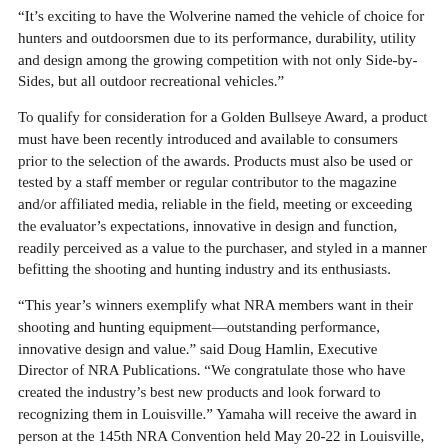“It’s exciting to have the Wolverine named the vehicle of choice for hunters and outdoorsmen due to its performance, durability, utility and design among the growing competition with not only Side-by-Sides, but all outdoor recreational vehicles.”
To qualify for consideration for a Golden Bullseye Award, a product must have been recently introduced and available to consumers prior to the selection of the awards. Products must also be used or tested by a staff member or regular contributor to the magazine and/or affiliated media, reliable in the field, meeting or exceeding the evaluator’s expectations, innovative in design and function, readily perceived as a value to the purchaser, and styled in a manner befitting the shooting and hunting industry and its enthusiasts.
“This year’s winners exemplify what NRA members want in their shooting and hunting equipment—outstanding performance, innovative design and value.” said Doug Hamlin, Executive Director of NRA Publications. “We congratulate those who have created the industry’s best new products and look forward to recognizing them in Louisville.” Yamaha will receive the award in person at the 145th NRA Convention held May 20-22 in Louisville, Ky.
The Yamaha Wolverine R-Spec features...